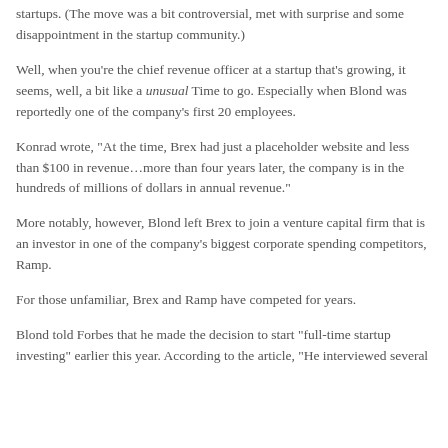startups. (The move was a bit controversial, met with surprise and some disappointment in the startup community.)
Well, when you're the chief revenue officer at a startup that's growing, it seems, well, a bit like a unusual Time to go. Especially when Blond was reportedly one of the company's first 20 employees.
Konrad wrote, "At the time, Brex had just a placeholder website and less than $100 in revenue…more than four years later, the company is in the hundreds of millions of dollars in annual revenue."
More notably, however, Blond left Brex to join a venture capital firm that is an investor in one of the company's biggest corporate spending competitors, Ramp.
For those unfamiliar, Brex and Ramp have competed for years.
Blond told Forbes that he made the decision to start "full-time startup investing" earlier this year. According to the article, "He interviewed several